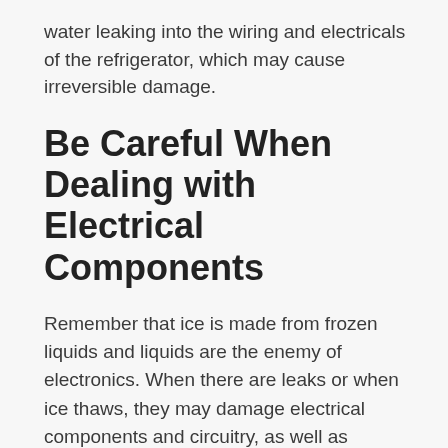water leaking into the wiring and electricals of the refrigerator, which may cause irreversible damage.
Be Careful When Dealing with Electrical Components
Remember that ice is made from frozen liquids and liquids are the enemy of electronics. When there are leaks or when ice thaws, they may damage electrical components and circuitry, as well as become a fire hazard if sparks occur from the reaction. Defrosting will